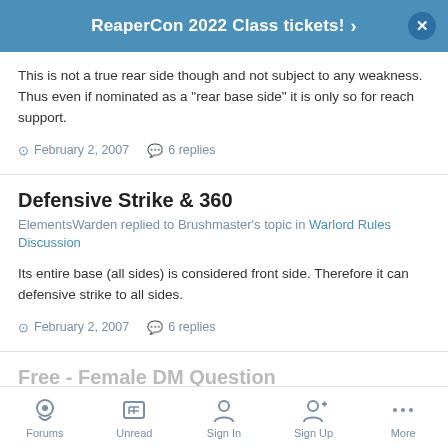ReaperCon 2022 Class tickets!
This is not a true rear side though and not subject to any weakness. Thus even if nominated as a "rear base side" it is only so for reach support.
February 2, 2007   6 replies
Defensive Strike & 360
ElementsWarden replied to Brushmaster's topic in Warlord Rules Discussion
Its entire base (all sides) is considered front side. Therefore it can defensive strike to all sides.
February 2, 2007   6 replies
Forums   Unread   Sign In   Sign Up   More